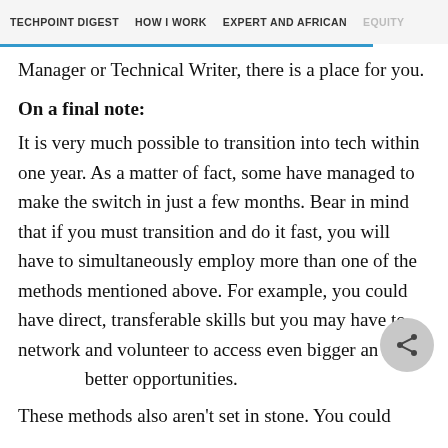TECHPOINT DIGEST   HOW I WORK   EXPERT AND AFRICAN   EQUITY
Manager or Technical Writer, there is a place for you.
On a final note:
It is very much possible to transition into tech within one year. As a matter of fact, some have managed to make the switch in just a few months. Bear in mind that if you must transition and do it fast, you will have to simultaneously employ more than one of the methods mentioned above. For example, you could have direct, transferable skills but you may have to network and volunteer to access even bigger and better opportunities.
These methods also aren't set in stone. You could